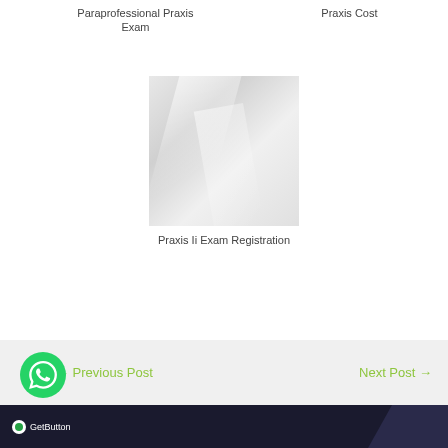Paraprofessional Praxis Exam
Praxis Cost
[Figure (photo): Placeholder image with gray gradient swirl pattern for Praxis Ii Exam Registration]
Praxis Ii Exam Registration
← Previous Post    Next Post →
GetButton